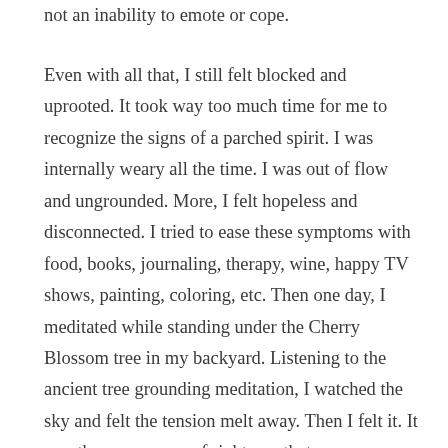not an inability to emote or cope.
Even with all that, I still felt blocked and uprooted. It took way too much time for me to recognize the signs of a parched spirit. I was internally weary all the time. I was out of flow and ungrounded. More, I felt hopeless and disconnected. I tried to ease these symptoms with food, books, journaling, therapy, wine, happy TV shows, painting, coloring, etc. Then one day, I meditated while standing under the Cherry Blossom tree in my backyard. Listening to the ancient tree grounding meditation, I watched the sky and felt the tension melt away. Then I felt it. It was the same sense of rightness that came over